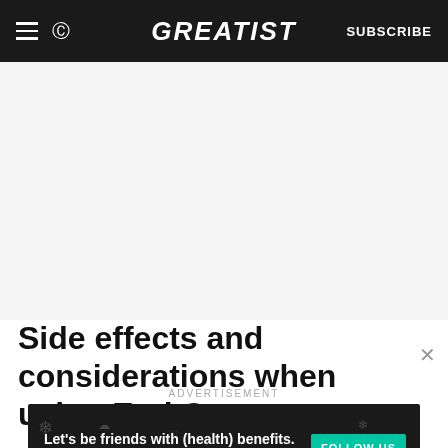GREATIST | SUBSCRIBE
Side effects and considerations when using Earl Grey
ADVERTISEMENT
[Figure (other): Advertisement banner: Let's be friends with (health) benefits. Follow GREATIST on Instagram. FOLLOW US button.]